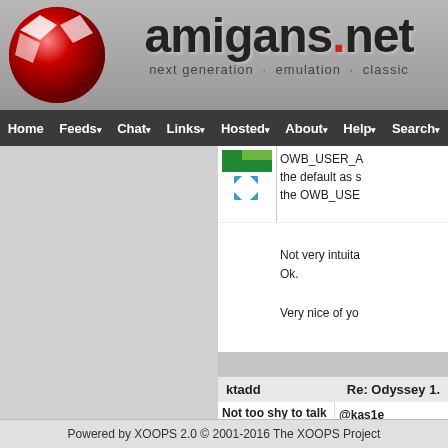amigans.net — next generation · emulation · classic
Home | Feeds | Chat | Links | Hosted | About | Help | Search
OWB_USER_A the default as s the OWB_USE

Not very intuita Ok.

Very nice of yo
ktadd
Re: Odyssey 1.
Not too shy to talk
@kas1e
I've been trying few times. See to track it to any time....later. In f
Powered by XOOPS 2.0 © 2001-2016 The XOOPS Project